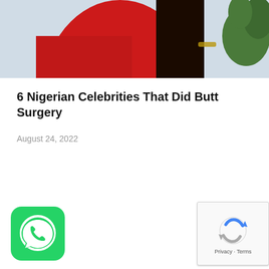[Figure (photo): Partial photo of a person in a red dress with dark hair, with a plant visible in the background, cropped at the top of the page]
6 Nigerian Celebrities That Did Butt Surgery
August 24, 2022
[Figure (logo): WhatsApp app icon — green rounded square with white phone/chat bubble logo]
[Figure (other): reCAPTCHA widget box showing the reCAPTCHA logo with 'Privacy · Terms' text]